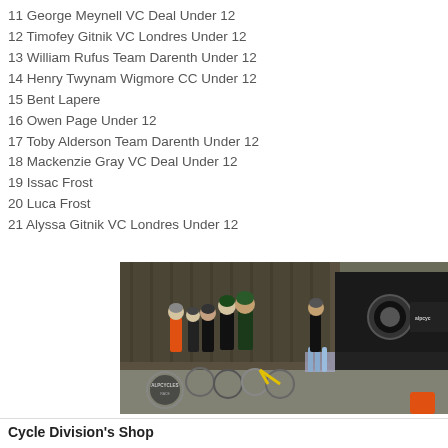11 George Meynell VC Deal Under 12
12 Timofey Gitnik VC Londres Under 12
13 William Rufus Team Darenth Under 12
14 Henry Twynam Wigmore CC Under 12
15 Bent Lapere
16 Owen Page Under 12
17 Toby Alderson Team Darenth Under 12
18 Mackenzie Gray VC Deal Under 12
19 Issac Frost
20 Luca Frost
21 Alyssa Gitnik VC Londres Under 12
[Figure (photo): Group of cyclists gathered near bicycles and a dark van with ALPCYCLES branding, at an outdoor cycling event]
Cycle Division's Shop